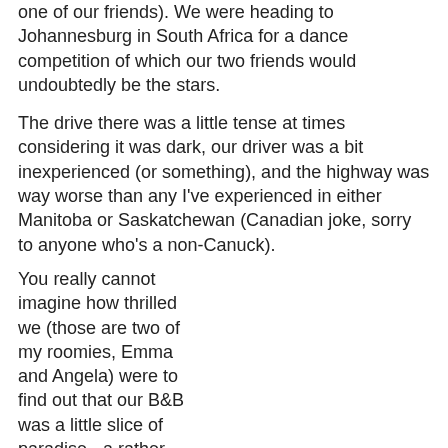one of our friends). We were heading to Johannesburg in South Africa for a dance competition of which our two friends would undoubtedly be the stars.
The drive there was a little tense at times considering it was dark, our driver was a bit inexperienced (or something), and the highway was way worse than any I've experienced in either Manitoba or Saskatchewan (Canadian joke, sorry to anyone who's a non-Canuck).
You really cannot imagine how thrilled we (those are two of my roomies, Emma and Angela) were to find out that our B&B was a little slice of paradise - a rather chilly paradise, mind you - but paradise none-the-less. We piled on the blankets, tucked ourselves in, and before we knew it, our alarm awakened us for our first official day in Joburg. Up 'n' at 'em
[Figure (photo): Indoor photo of a B&B room showing two people sitting among white bedding and pillows, with a small table between them holding flowers, and curtained windows in the background.]